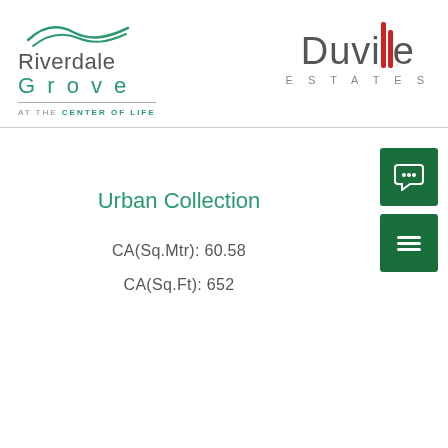[Figure (logo): Riverdale Grove logo with wave graphic and tagline 'AT THE CENTER OF LIFE']
[Figure (logo): Duville Estates logo with stylized red columns in the letters 'll']
Urban Collection
CA(Sq.Mtr): 60.58
CA(Sq.Ft): 652